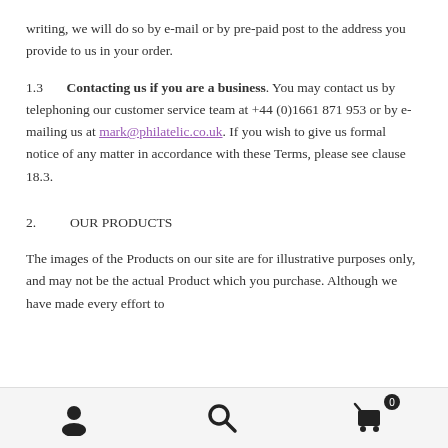writing, we will do so by e-mail or by pre-paid post to the address you provide to us in your order.
1.3	Contacting us if you are a business. You may contact us by telephoning our customer service team at +44 (0)1661 871 953 or by e-mailing us at mark@philatelic.co.uk. If you wish to give us formal notice of any matter in accordance with these Terms, please see clause 18.3.
2.	OUR PRODUCTS
The images of the Products on our site are for illustrative purposes only, and may not be the actual Product which you purchase. Although we have made every effort to
[navigation icons: user, search, cart (0)]